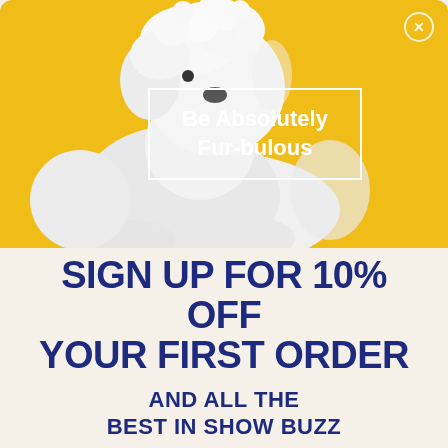[Figure (photo): A fluffy white dog (Bichon Frise or similar breed) photographed against a bright yellow background. The dog is seated and its groomed white fur fills much of the frame. A white-bordered rectangle overlays the image with the text 'Be Absolutely Fur-bulous'. A small close (X) button appears in the top-right corner.]
SIGN UP FOR 10% OFF YOUR FIRST ORDER
AND ALL THE BEST IN SHOW BUZZ